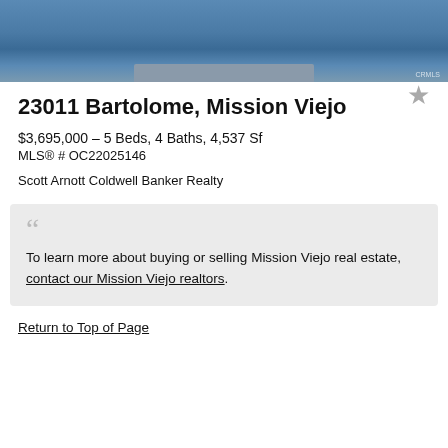[Figure (photo): Aerial or waterfront photo of a property with dock and water, CRMLS watermark]
23011 Bartolome, Mission Viejo
$3,695,000 – 5 Beds, 4 Baths, 4,537 Sf
MLS® # OC22025146
Scott Arnott Coldwell Banker Realty
To learn more about buying or selling Mission Viejo real estate, contact our Mission Viejo realtors.
Return to Top of Page